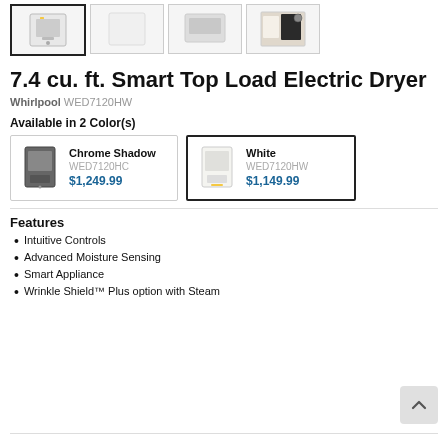[Figure (photo): Row of four product thumbnail images for a Whirlpool electric dryer; first thumbnail selected with bold border, others unselected.]
7.4 cu. ft. Smart Top Load Electric Dryer
Whirlpool WED7120HW
Available in 2 Color(s)
| Chrome Shadow | WED7120HC | $1,249.99 |
| White | WED7120HW | $1,149.99 |
Features
Intuitive Controls
Advanced Moisture Sensing
Smart Appliance
Wrinkle Shield™ Plus option with Steam